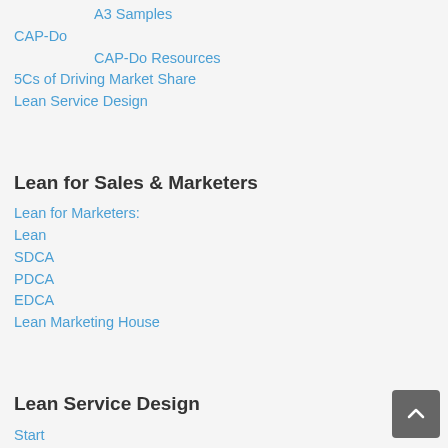A3 Samples
CAP-Do
CAP-Do Resources
5Cs of Driving Market Share
Lean Service Design
Lean for Sales & Marketers
Lean for Marketers:
Lean
SDCA
PDCA
EDCA
Lean Marketing House
Lean Service Design
Start
Lean
Service